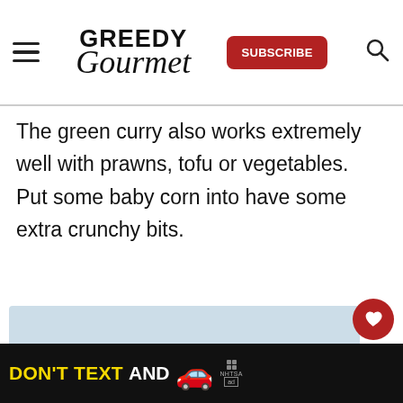GREEDY Gourmet — SUBSCRIBE
The green curry also works extremely well with prawns, tofu or vegetables. Put some baby corn into have some extra crunchy bits.
[Figure (other): Light blue content placeholder area]
[Figure (other): What's Next widget showing Lamb Massaman... with food thumbnail image]
[Figure (other): DON'T TEXT AND [car emoji] advertisement banner on black background]